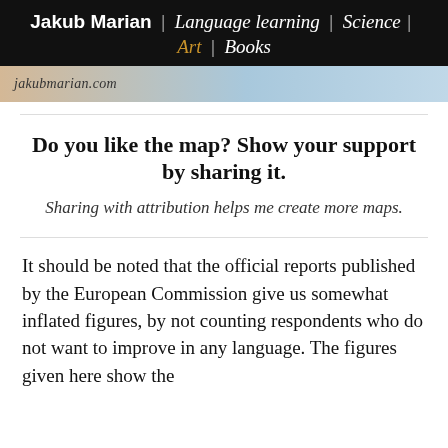Jakub Marian | Language learning | Science | Art | Books
[Figure (photo): Partial banner image showing jakubmarian.com watermark text over a blurred background image]
Do you like the map? Show your support by sharing it.
Sharing with attribution helps me create more maps.
It should be noted that the official reports published by the European Commission give us somewhat inflated figures, by not counting respondents who do not want to improve in any language. The figures given here show the